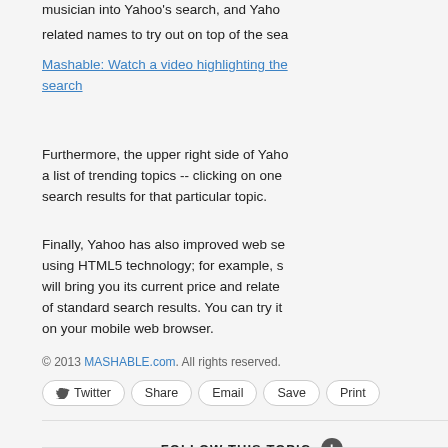musician into Yahoo's search, and Yahoo related names to try out on top of the sea
Mashable: Watch a video highlighting the search
Furthermore, the upper right side of Yahoo a list of trending topics -- clicking on one search results for that particular topic.
Finally, Yahoo has also improved web se using HTML5 technology; for example, s will bring you its current price and relate of standard search results. You can try it on your mobile web browser.
© 2013 MASHABLE.com. All rights reserved.
Twitter | Share | Email | Save | Print
FOLLOW THIS TOPIC +